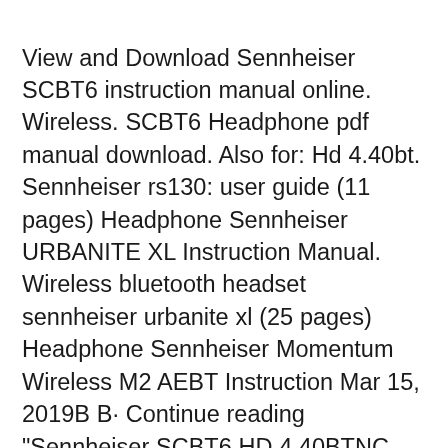View and Download Sennheiser SCBT6 instruction manual online. Wireless. SCBT6 Headphone pdf manual download. Also for: Hd 4.40bt. Sennheiser rs130: user guide (11 pages) Headphone Sennheiser URBANITE XL Instruction Manual. Wireless bluetooth headset sennheiser urbanite xl (25 pages) Headphone Sennheiser Momentum Wireless M2 AEBT Instruction Mar 15, 2019B B· Continue reading "Sennheiser SCBT6 HD 4.40BTNC User Manual" Skip to content. Manuals+. User Manuals Simplified. Posted on March 15, 2019 March 15, 2019 by admin. Sennheiser SCBT6 HD 4.40BTNC User Manual. Sennheiser SCBT6 HD 4.40BTNC User